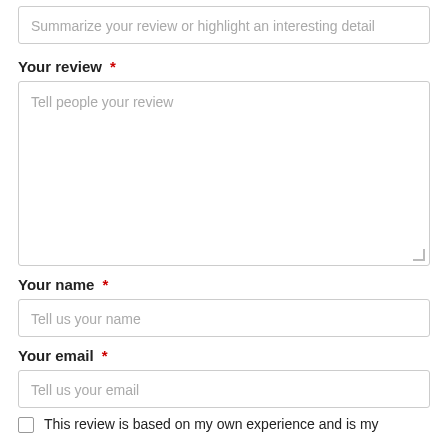Summarize your review or highlight an interesting detail
Your review *
Tell people your review
Your name *
Tell us your name
Your email *
Tell us your email
This review is based on my own experience and is my